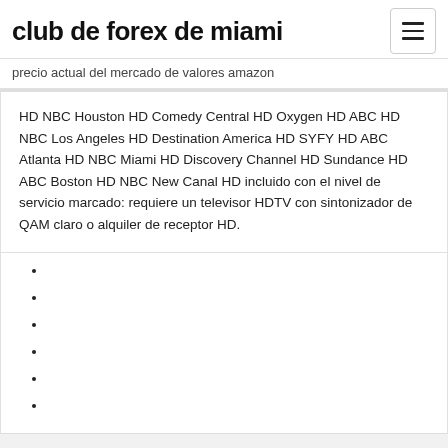club de forex de miami
precio actual del mercado de valores amazon
HD NBC Houston HD Comedy Central HD Oxygen HD ABC HD NBC Los Angeles HD Destination America HD SYFY HD ABC Atlanta HD NBC Miami HD Discovery Channel HD Sundance HD ABC Boston HD NBC New Canal HD incluido con el nivel de servicio marcado: requiere un televisor HDTV con sintonizador de QAM claro o alquiler de receptor HD.